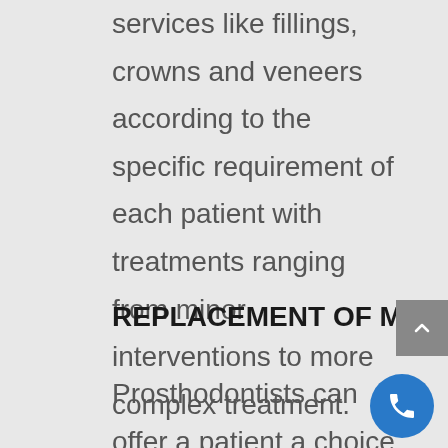services like fillings, crowns and veneers according to the specific requirement of each patient with treatments ranging from minor interventions to more complex treatment.
REPLACEMENT OF MISSING TEETH:
Prosthodontists can offer a patient a choice of many options for the replacement of missing teeth. If a